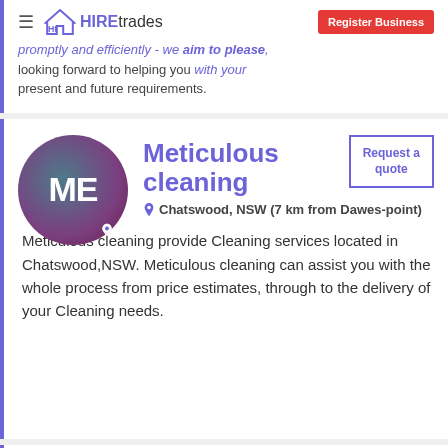HIREtrades | Register Business
promptly and efficiently - we aim to please. looking forward to helping you with your present and future requirements.
Meticulous cleaning
Chatswood, NSW (7 km from Dawes-point)
Meticulous cleaning provide Cleaning services located in Chatswood,NSW. Meticulous cleaning can assist you with the whole process from price estimates, through to the delivery of your Cleaning needs.